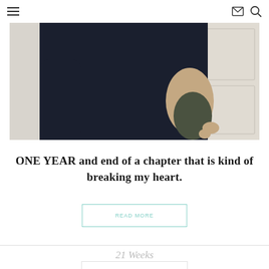≡  ✉ 🔍
[Figure (photo): A person wearing a dark navy top holding a baby dressed in olive/dark green clothing, standing near a white door. Only the torso and arms of the adult are visible, with the baby nestled against them.]
ONE YEAR and end of a chapter that is kind of breaking my heart.
READ MORE
21 Weeks